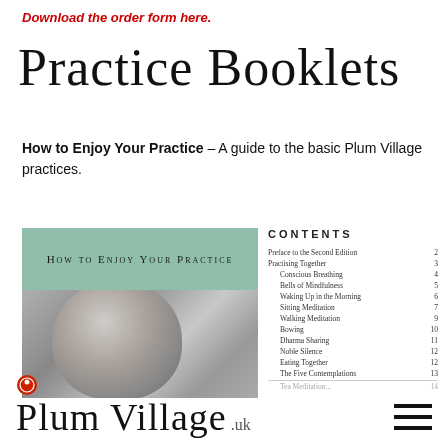Download the order form here.
Practice Booklets
How to Enjoy Your Practice – A guide to the basic Plum Village practices.
[Figure (illustration): Book cover of 'How to Enjoy Your Practice' showing a green header with small-caps title and a black-and-white photo of a bald monk's head. Next to it, a contents panel listing chapters with page numbers.]
[Figure (logo): Plum Village UK logo: a circular red emblem above handwritten-style cursive text reading 'Plum Village .uk']
[Figure (other): Hamburger menu icon: three horizontal black lines]